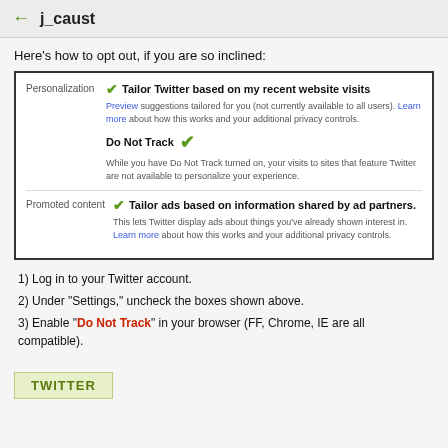j_caust
Here's how to opt out, if you are so inclined:
[Figure (screenshot): Twitter settings panel showing Personalization and Promoted content checkboxes with Do Not Track option]
1) Log in to your Twitter account.
2) Under "Settings," uncheck the boxes shown above.
3) Enable "Do Not Track" in your browser (FF, Chrome, IE are all compatible).
TWITTER